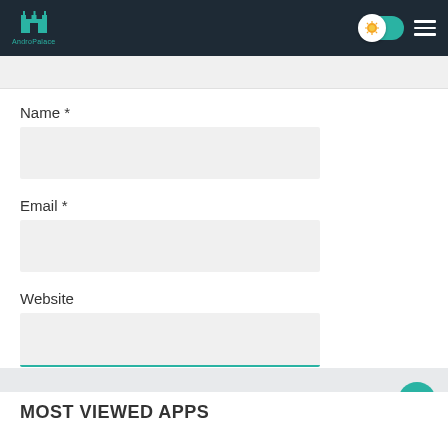[Figure (logo): AndroPalace logo with castle icon in teal on dark navy header bar, with toggle switch and hamburger menu on the right]
Name *
Email *
Website
Post Comment
MOST VIEWED APPS